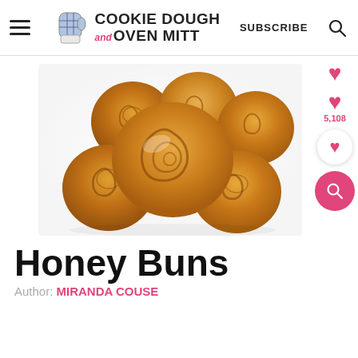Cookie Dough and Oven Mitt — SUBSCRIBE
[Figure (photo): Several golden-brown honey buns (spiral rolled sweet rolls) piled together on a white surface, viewed from above and slightly to the side. The buns have a glossy glaze and visible swirl pattern.]
Honey Buns
Author: MIRANDA COUSE